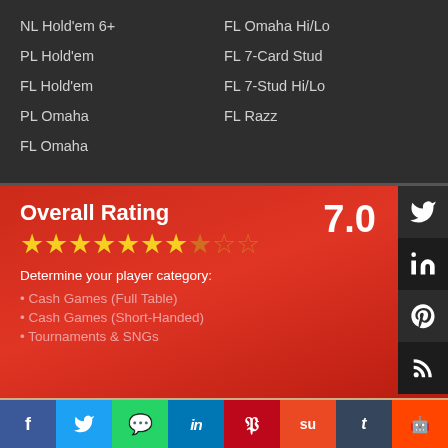NL Hold'em 6+
FL Omaha Hi/Lo
PL Hold'em
FL 7-Card Stud
FL Hold'em
FL 7-Stud Hi/Lo
PL Omaha
FL Razz
FL Omaha
Overall Rating
7.0
Determine your player category:
Cash Games (Full Table)
Cash Games (Short-Handed)
Tournaments & SNGs
Rake, Full Table
8.2
NL: 1¢/2¢ - 8¢/16¢
1